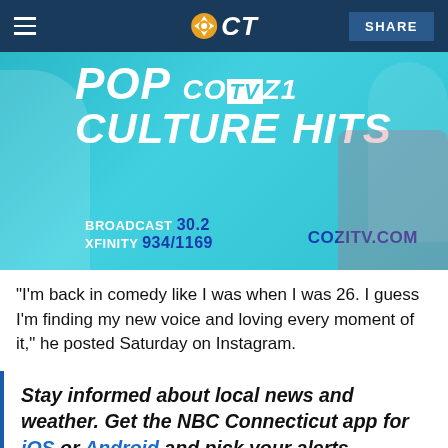NBC CT — SHARE
[Figure (photo): COZI TV advertisement showing 'POP CULTURE HITS' with TV characters, BROADCAST 30.2, XFINITY 934/1169, COZITV.COM]
"I'm back in comedy like I was when I was 26. I guess I'm finding my new voice and loving every moment of it," he posted Saturday on Instagram.
Stay informed about local news and weather. Get the NBC Connecticut app for iOS or Android and pick your alerts.